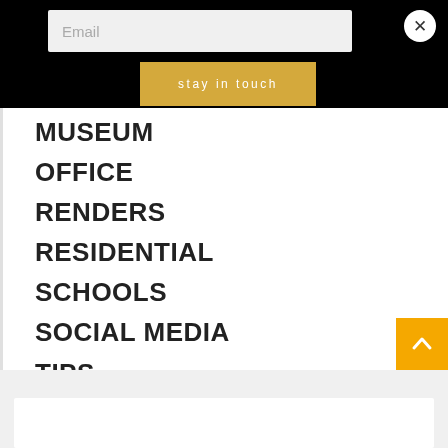Email
stay in touch
MUSEUM
OFFICE
RENDERS
RESIDENTIAL
SCHOOLS
SOCIAL MEDIA
TIPS
TIPS
VILLAS